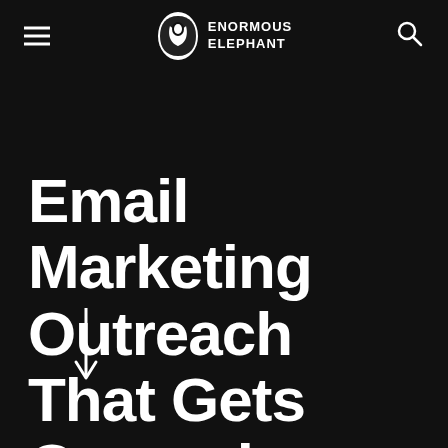Enormous Elephant
Email Marketing Outreach That Gets Opened
[Figure (illustration): Down arrow icon in white]